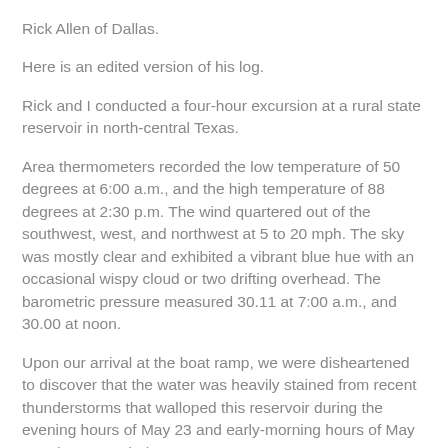Rick Allen of Dallas.
Here is an edited version of his log.
Rick and I conducted a four-hour excursion at a rural state reservoir in north-central Texas.
Area thermometers recorded the low temperature of 50 degrees at 6:00 a.m., and the high temperature of 88 degrees at 2:30 p.m. The wind quartered out of the southwest, west, and northwest at 5 to 20 mph. The sky was mostly clear and exhibited a vibrant blue hue with an occasional wispy cloud or two drifting overhead. The barometric pressure measured 30.11 at 7:00 a.m., and 30.00 at noon.
Upon our arrival at the boat ramp, we were disheartened to discover that the water was heavily stained from recent thunderstorms that walloped this reservoir during the evening hours of May 23 and early-morning hours of May 24. The water clarity